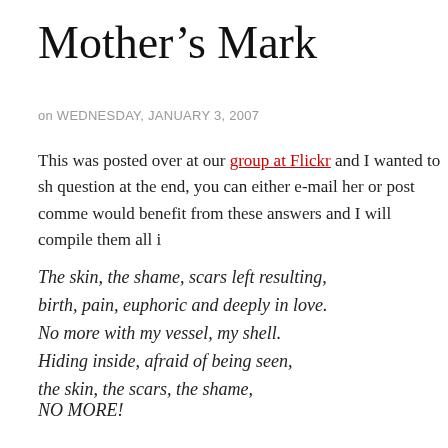Mother’s Mark
on WEDNESDAY, JANUARY 3, 2007
This was posted over at our group at Flickr and I wanted to sh... question at the end, you can either e-mail her or post comme... would benefit from these answers and I will compile them all i...
The skin, the shame, scars left resulting,
birth, pain, euphoric and deeply in love.
No more with my vessel, my shell.
Hiding inside, afraid of being seen,
the skin, the scars, the shame,

NO MORE!